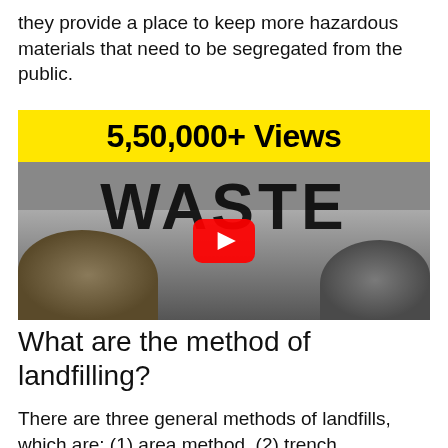they provide a place to keep more hazardous materials that need to be segregated from the public.
[Figure (screenshot): YouTube video thumbnail showing '5,50,000+ Views' in bold black text on a yellow bar, with the word 'WASTE' in large graffiti-style text over a grey landfill scene, and a red YouTube play button in the center.]
What are the method of landfilling?
There are three general methods of landfills, which are: (1) area method, (2) trench